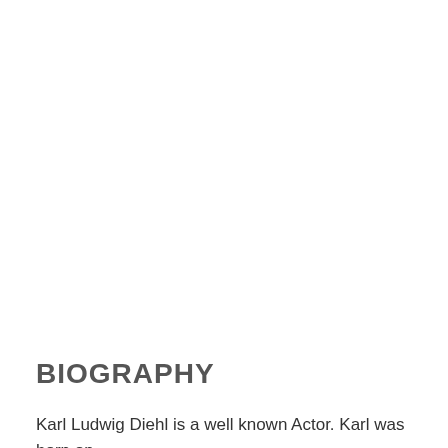BIOGRAPHY
Karl Ludwig Diehl is a well known Actor. Karl was born on